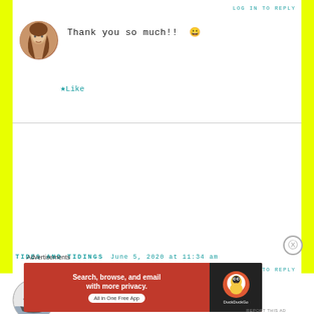LOG IN TO REPLY
Thank you so much!! 😀
★ Like
TIDES AND TIDINGS   June 5, 2020 at 11:34 am
LOG IN TO REPLY
Happy Birthday and ever after
★ Liked by 2 people
Advertisements
[Figure (screenshot): DuckDuckGo advertisement banner: orange/red background with text 'Search, browse, and email with more privacy. All in One Free App' and DuckDuckGo duck logo on dark background]
REPORT THIS AD